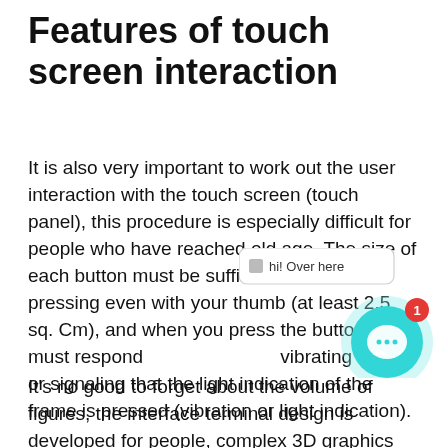Features of touch screen interaction
It is also very important to work out the user interaction with the touch screen (touch panel), this procedure is especially difficult for people who have reached old age. The size of each button must be sufficient for confident pressing even with your thumb (at least 2.5 sq. Cm), and when you press the button, you must respond vibrating signal or signaling that the light indication of the frame is pressed (vibration or light indication).
[Figure (illustration): Chat widget overlay showing a tooltip with emoji and text 'hi! Over here' and a teal circular chat button with ellipsis icon and a red notification badge showing '1']
It's no good to forget about the volume of figures, the interface terminal design is developed for people, complex 3D graphics and animation will